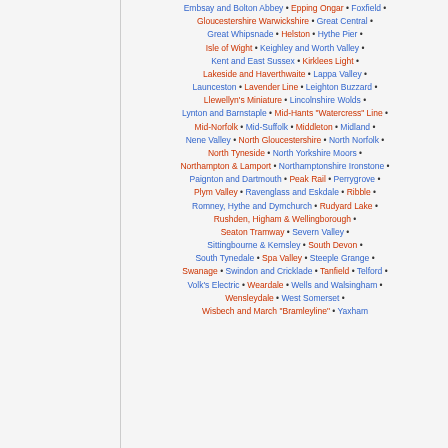Embsay and Bolton Abbey • Epping Ongar • Foxfield • Gloucestershire Warwickshire • Great Central • Great Whipsnade • Helston • Hythe Pier • Isle of Wight • Keighley and Worth Valley • Kent and East Sussex • Kirklees Light • Lakeside and Haverthwaite • Lappa Valley • Launceston • Lavender Line • Leighton Buzzard • Llewellyn's Miniature • Lincolnshire Wolds • Lynton and Barnstaple • Mid-Hants "Watercress" Line • Mid-Norfolk • Mid-Suffolk • Middleton • Midland • Nene Valley • North Gloucestershire • North Norfolk • North Tyneside • North Yorkshire Moors • Northampton & Lamport • Northamptonshire Ironstone • Paignton and Dartmouth • Peak Rail • Perrygrove • Plym Valley • Ravenglass and Eskdale • Ribble • Romney, Hythe and Dymchurch • Rudyard Lake • Rushden, Higham & Wellingborough • Seaton Tramway • Severn Valley • Sittingbourne & Kemsley • South Devon • South Tynedale • Spa Valley • Steeple Grange • Swanage • Swindon and Cricklade • Tanfield • Telford • Volk's Electric • Weardale • Wells and Walsingham • Wensleydale • West Somerset • Wisbech and March "Bramleyline" • Yaxham